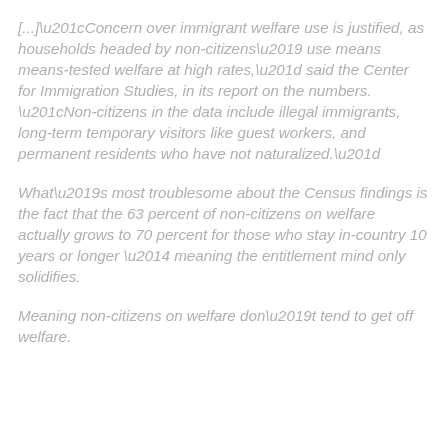[...]“Concern over immigrant welfare use is justified, as households headed by non-citizens’ use means means-tested welfare at high rates,” said the Center for Immigration Studies, in its report on the numbers. “Non-citizens in the data include illegal immigrants, long-term temporary visitors like guest workers, and permanent residents who have not naturalized.”
What’s most troublesome about the Census findings is the fact that the 63 percent of non-citizens on welfare actually grows to 70 percent for those who stay in-country 10 years or longer — meaning the entitlement mind only solidifies.
Meaning non-citizens on welfare don’t tend to get off welfare.